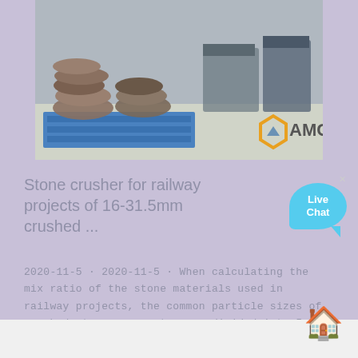[Figure (photo): Industrial stone crusher parts stacked on blue pallet in a warehouse/factory setting, with AMC company logo visible in the bottom right of the image.]
Stone crusher for railway projects of 16-31.5mm crushed ...
2020-11-5 · 2020-11-5 · When calculating the mix ratio of the stone materials used in railway projects, the common particle sizes of crushed stone aggregates are divided into 5mm, 10mm, 16mm, 20mm, 30mm, 31.5mm, common stone crushers used in railway projects include jaw crusher and cone crusher, impact crusher, sand making machine, etc